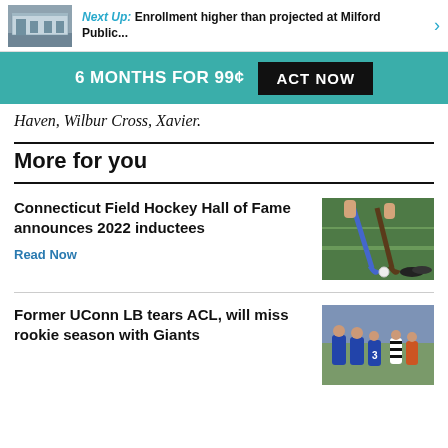Next Up: Enrollment higher than projected at Milford Public...
6 MONTHS FOR 99¢  ACT NOW
Haven, Wilbur Cross, Xavier.
More for you
Connecticut Field Hockey Hall of Fame announces 2022 inductees
Read Now
[Figure (photo): Field hockey players with sticks on green turf]
Former UConn LB tears ACL, will miss rookie season with Giants
[Figure (photo): Football players including Giants players in blue jerseys]